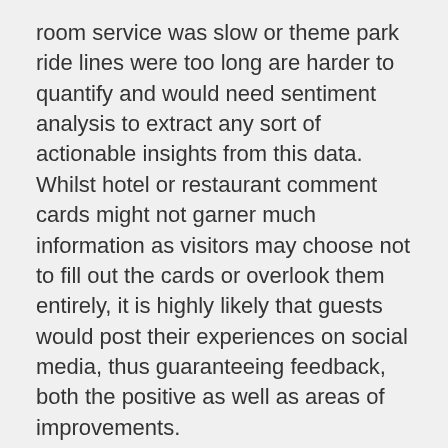room service was slow or theme park ride lines were too long are harder to quantify and would need sentiment analysis to extract any sort of actionable insights from this data. Whilst hotel or restaurant comment cards might not garner much information as visitors may choose not to fill out the cards or overlook them entirely, it is highly likely that guests would post their experiences on social media, thus guaranteeing feedback, both the positive as well as areas of improvements.
Ivan Teh, Fusionex Chief Executive Officer, commented: “The tourism, travel and hospitality industry has been the bedrock of many Asian countries which welcome travelers from all over the world due to their beautiful vistas, warm people and affordable packages. Making the leap into the data age by employing the use of GIANT would serve this industry well considering the amount of guests they